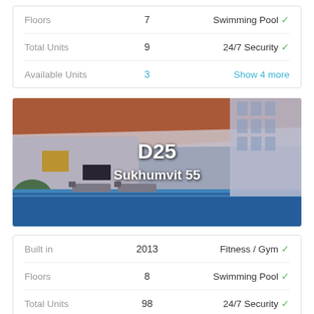|  |  |  |
| --- | --- | --- |
| Floors | 7 | Swimming Pool ✓ |
| Total Units | 9 | 24/7 Security ✓ |
| Available Units | 3 | Show 4 more |
[Figure (photo): Interior photo of a residential building showing a rooftop/indoor swimming pool area with blue tiles, lounge chairs, orange wood ceiling, and high-rise buildings in the background. Text overlay reads 'D25 Sukhumvit 55'.]
|  |  |  |
| --- | --- | --- |
| Built in | 2013 | Fitness / Gym ✓ |
| Floors | 8 | Swimming Pool ✓ |
| Total Units | 98 | 24/7 Security ✓ |
| Available Units | 3 | Show 4 |